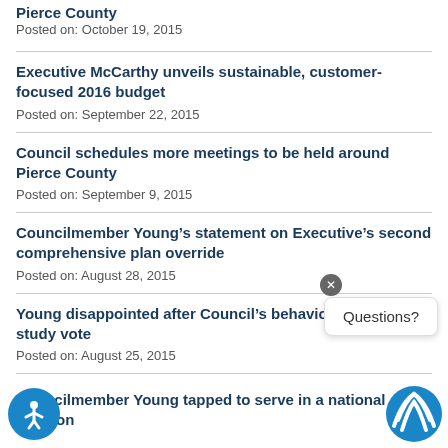Pierce County
Posted on: October 19, 2015
Executive McCarthy unveils sustainable, customer-focused 2016 budget
Posted on: September 22, 2015
Council schedules more meetings to be held around Pierce County
Posted on: September 9, 2015
Councilmember Young’s statement on Executive’s second comprehensive plan override
Posted on: August 28, 2015
Young disappointed after Council’s behavior study vote
Posted on: August 25, 2015
Councilmember Young tapped to serve in a national position